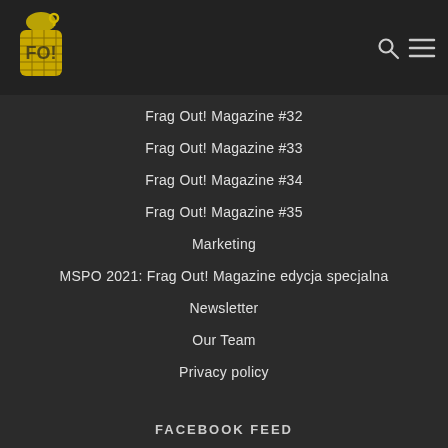Frag Out! Magazine — header with logo, search icon, menu icon
Frag Out! Magazine #32
Frag Out! Magazine #33
Frag Out! Magazine #34
Frag Out! Magazine #35
Marketing
MSPO 2021: Frag Out! Magazine edycja specjalna
Newsletter
Our Team
Privacy policy
FACEBOOK FEED